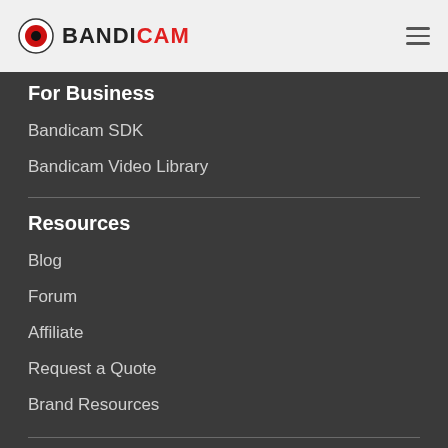BANDICAM
For Business
Bandicam SDK
Bandicam Video Library
Resources
Blog
Forum
Affiliate
Request a Quote
Brand Resources